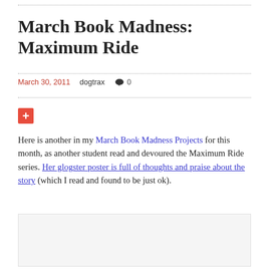March Book Madness: Maximum Ride
March 30, 2011   dogtrax   💬 0
[Figure (other): Red plus button/icon]
Here is another in my March Book Madness Projects for this month, as another student read and devoured the Maximum Ride series. Her glogster poster is full of thoughts and praise about the story (which I read and found to be just ok).
[Figure (other): Embedded content placeholder box (light gray rectangle)]